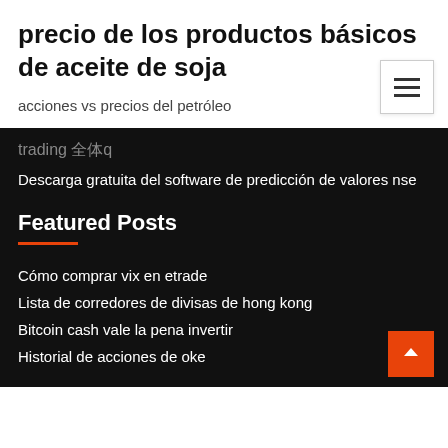precio de los productos básicos de aceite de soja
acciones vs precios del petróleo
trading 全体q
Descarga gratuita del software de predicción de valores nse
Featured Posts
Cómo comprar vix en etrade
Lista de corredores de divisas de hong kong
Bitcoin cash vale la pena invertir
Historial de acciones de oke